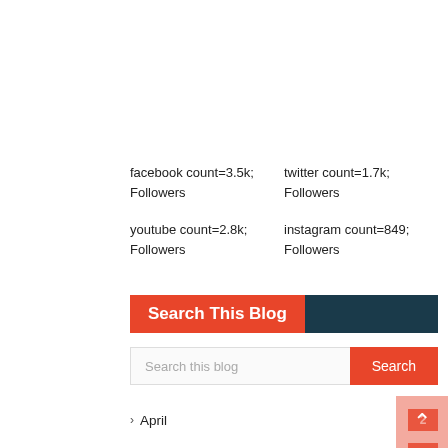facebook count=3.5k; Followers
twitter count=1.7k; Followers
youtube count=2.8k; Followers
instagram count=849; Followers
Search This Blog
Search this blog
April 2
October 2